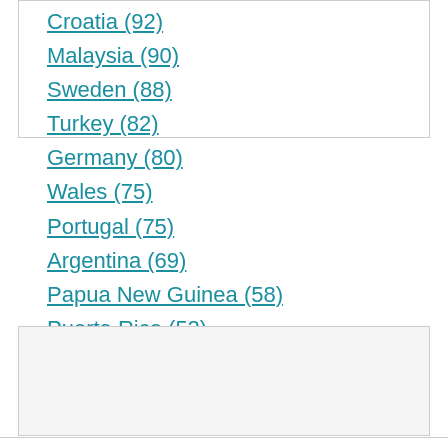Croatia (92)
Malaysia (90)
Sweden (88)
Turkey (82)
Germany (80)
Wales (75)
Portugal (75)
Argentina (69)
Papua New Guinea (58)
Puerto Rico (52)